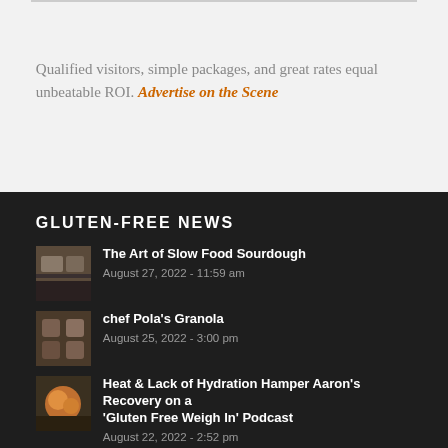Qualified visitors, simple packages, and great rates equal unbeatable ROI. Advertise on the Scene
GLUTEN-FREE NEWS
The Art of Slow Food Sourdough | August 27, 2022 - 11:59 am
chef Pola's Granola | August 25, 2022 - 3:00 pm
Heat & Lack of Hydration Hamper Aaron's Recovery on a 'Gluten Free Weigh In' Podcast | August 22, 2022 - 2:52 pm